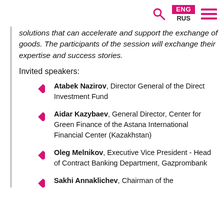ENG RUS [search] [menu]
solutions that can accelerate and support the exchange of goods. The participants of the session will exchange their expertise and success stories.
Invited speakers:
Atabek Nazirov, Director General of the Direct Investment Fund
Aidar Kazybaev, General Director, Center for Green Finance of the Astana International Financial Center (Kazakhstan)
Oleg Melnikov, Executive Vice President - Head of Contract Banking Department, Gazprombank
Sakhi Annaklichev, Chairman of the